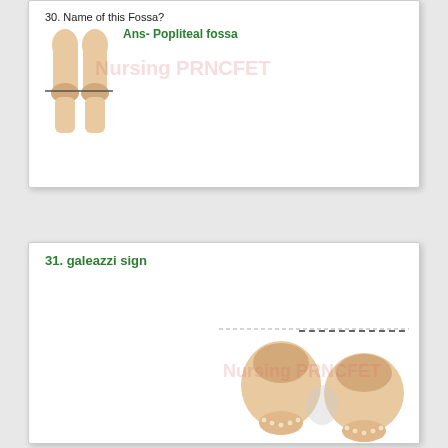30. Name of this Fossa?
[Figure (illustration): Back view of human lower legs/knees showing the popliteal fossa region with a horizontal line marker]
Ans- Popliteal fossa
31. galeazzi sign
[Figure (illustration): Galeazzi sign illustration showing legs bent at knees from a superior view with a dashed horizontal line at the knees indicating unequal knee heights]